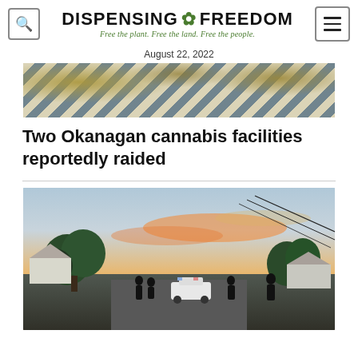DISPENSING * FREEDOM — Free the plant. Free the land. Free the people.
August 22, 2022
[Figure (photo): Cannabis buds wrapped in blue and white striped cloth/bags]
Two Okanagan cannabis facilities reportedly raided
[Figure (photo): Police scene at dusk with police car and people on a suburban street, sunset sky with orange and pink hues, trees and houses in background]